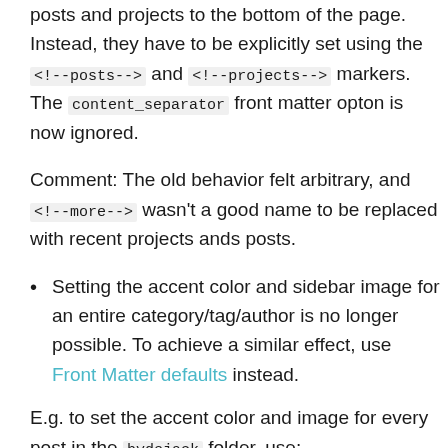posts and projects to the bottom of the page. Instead, they have to be explicitly set using the <!--posts--> and <!--projects--> markers. The content_separator front matter opton is now ignored.
Comment: The old behavior felt arbitrary, and <!--more--> wasn't a good name to be replaced with recent projects ands posts.
Setting the accent color and sidebar image for an entire category/tag/author is no longer possible. To achieve a similar effect, use Front Matter defaults instead.
E.g. to set the accent color and image for every post in the hydejack folder, use: